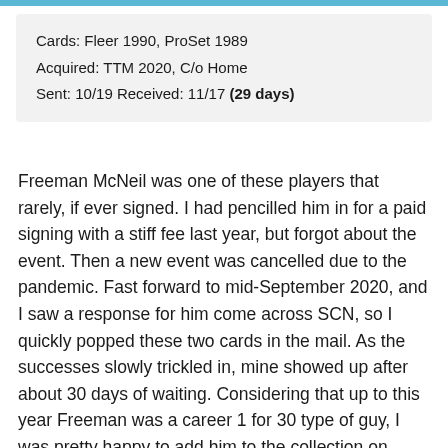Cards: Fleer 1990, ProSet 1989
Acquired: TTM 2020, C/o Home
Sent: 10/19 Received: 11/17 (29 days)
Freeman McNeil was one of these players that rarely, if ever signed. I had pencilled him in for a paid signing with a stiff fee last year, but forgot about the event. Then a new event was cancelled due to the pandemic. Fast forward to mid-September 2020, and I saw a response for him come across SCN, so I quickly popped these two cards in the mail. As the successes slowly trickled in, mine showed up after about 30 days of waiting. Considering that up to this year Freeman was a career 1 for 30 type of guy, I was pretty happy to add him to the collection on these beautiful cards.
Freeman's career was already on the back nine when I became